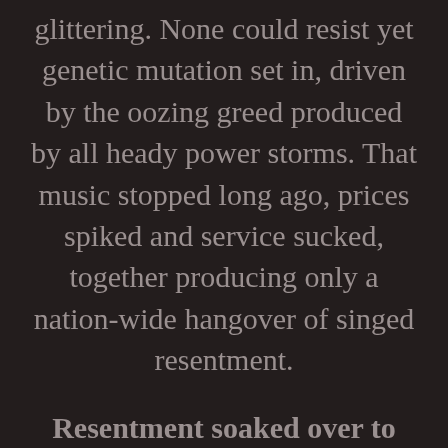glittering. None could resist yet genetic mutation set in, driven by the oozing greed produced by all heady power storms. That music stopped long ago, prices spiked and service sucked, together producing only a nation-wide hangover of singed resentment.
Resentment soaked over to